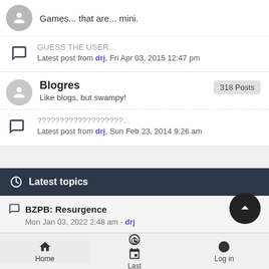Games... that are... mini.
GUESS THE USER...
Latest post from drj, Fri Apr 03, 2015 12:47 pm
Blogres
318 Posts
Like blogs, but swampy!
???????????????????....
Latest post from drj, Sun Feb 23, 2014 9:26 am
Latest topics
BZPB: Resurgence
Mon Jan 03, 2022 2:48 am - drj
No Exit
Sat Dec 04, 2021 8:47 pm - drj
Home  Last  Log in